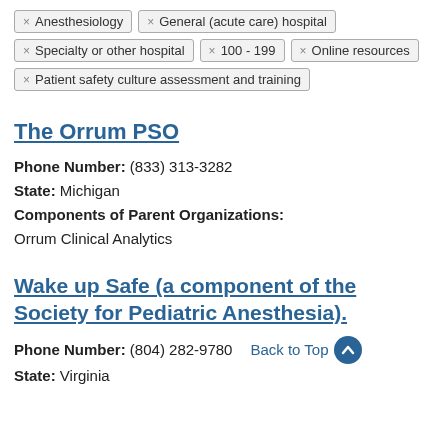× Anesthesiology
× General (acute care) hospital
× Specialty or other hospital
× 100 - 199
× Online resources
× Patient safety culture assessment and training
The Orrum PSO
Phone Number: (833) 313-3282
State: Michigan
Components of Parent Organizations:
Orrum Clinical Analytics
Wake up Safe (a component of the Society for Pediatric Anesthesia)
Phone Number: (804) 282-9780
State: Virginia